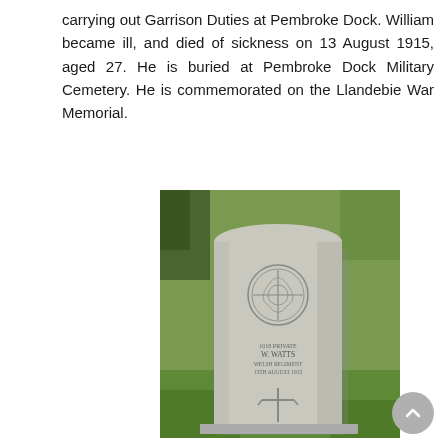carrying out Garrison Duties at Pembroke Dock. William became ill, and died of sickness on 13 August 1915, aged 27. He is buried at Pembroke Dock Military Cemetery. He is commemorated on the Llandebie War Memorial.
[Figure (photo): Photograph of a Commonwealth War Graves Commission headstone in a grass cemetery, showing the grave of Private Watts, Welsh Regiment, 13th August 1915, with a regimental badge and cross at the bottom of the stone.]